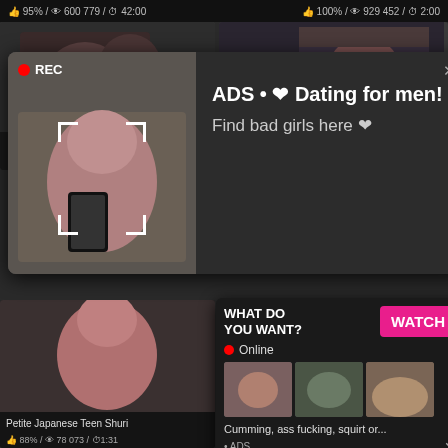95% / 600 779 / 42:00
100% / 929 452 / 2:00
[Figure (screenshot): Video thumbnail grid showing adult content thumbnails with overlaid dating/adult ad popups. Top-left thumb shows couple, top-right shows woman in kitchen. Ad overlay 1 shows REC selfie image with dating ad text: ADS • ❤ Dating for men! Find bad girls here ❤. Bottom-left thumb shows woman. Ad overlay 2 shows WHAT DO YOU WANT? WATCH button, Online indicator, three small thumbnails, text: Cumming, ass fucking, squirt or... • ADS with close button. Bottom-right thumb partially visible.]
ADS • ❤ Dating for men! Find bad girls here ❤
WHAT DO YOU WANT?
Online
Cumming, ass fucking, squirt or...
• ADS
Petite Japanese Teen Shuri
Concupiscent older babe jerks
88% / 78 073 / 1:31
88% / 855 639 / 5:00